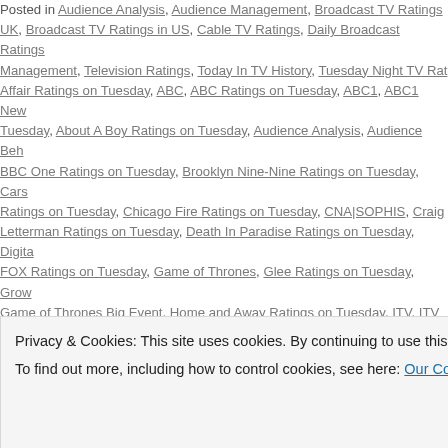Posted in Audience Analysis, Audience Management, Broadcast TV Ratings UK, Broadcast TV Ratings in US, Cable TV Ratings, Daily Broadcast Ratings Management, Television Ratings, Today In TV History, Tuesday Night TV Ratings, Affair Ratings on Tuesday, ABC, ABC Ratings on Tuesday, ABC1, ABC1 News Tuesday, About A Boy Ratings on Tuesday, Audience Analysis, Audience Behaviour, BBC One Ratings on Tuesday, Brooklyn Nine-Nine Ratings on Tuesday, Cars Ratings on Tuesday, Chicago Fire Ratings on Tuesday, CNA|SOPHIS, Craig Letterman Ratings on Tuesday, Death In Paradise Ratings on Tuesday, Digital FOX Ratings on Tuesday, Game of Thrones, Glee Ratings on Tuesday, Grownup Game of Thrones Big Event, Home and Away Ratings on Tuesday, ITV, ITV Ratings on Tuesday, Lance Hanish, Late Night Ratings on Tuesday, Marvel's Media, Media Analysis, Media Management, Mind Games Ratings on Tuesday, NBC, NBC Ratings on Tuesday, NCIS Ratings on Tuesday, NCIS: L Tuesday, Nightline Ratings on Tuesday, Nine, Nine News 6:30 Ratings on Tuesday, Nine Ratings on Tuesday, Person of Interest Ratings on Tuesday, Seth Meyers News Ratings on Tuesday, Seven News/Today Tonight Ratings on Tuesday, Ratings on Tuesday, Television, Television Ratings on Tuesday, The Block: Fa Goldbergs Ratings on Tuesday, The Originals Ratings on Tuesday, The Tonig
Privacy & Cookies: This site uses cookies. By continuing to use this website, you agree to their use. To find out more, including how to control cookies, see here: Our Cookie Policy
Close and accept
Tuesday, BBC One Conquers All In The U